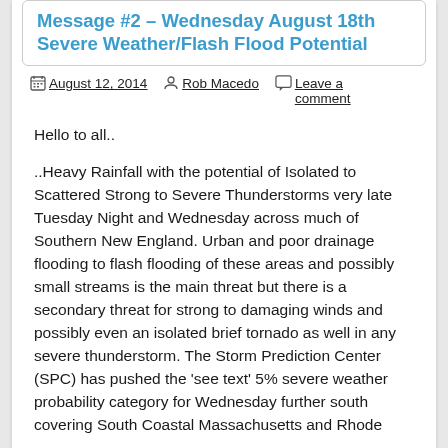Message #2 – Wednesday August 18th Severe Weather/Flash Flood Potential
August 12, 2014   Rob Macedo   Leave a comment
Hello to all..
..Heavy Rainfall with the potential of Isolated to Scattered Strong to Severe Thunderstorms very late Tuesday Night and Wednesday across much of Southern New England. Urban and poor drainage flooding to flash flooding of these areas and possibly small streams is the main threat but there is a secondary threat for strong to damaging winds and possibly even an isolated brief tornado as well in any severe thunderstorm. The Storm Prediction Center (SPC) has pushed the 'see text' 5% severe weather probability category for Wednesday further south covering South Coastal Massachusetts and Rhode